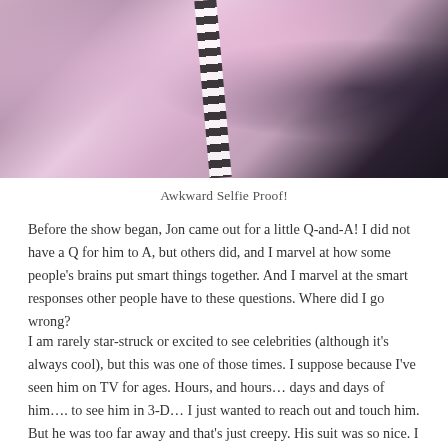[Figure (photo): Close-up selfie photo of two people, one with blonde hair, taken at what appears to be an indoor event with purple/pink lighting. One person wearing a striped top or accessory.]
Awkward Selfie Proof!
Before the show began, Jon came out for a little Q-and-A! I did not have a Q for him to A, but others did, and I marvel at how some people's brains put smart things together. And I marvel at the smart responses other people have to these questions. Where did I go wrong?
I am rarely star-struck or excited to see celebrities (although it's always cool), but this was one of those times. I suppose because I've seen him on TV for ages. Hours, and hours… days and days of him…. to see him in 3-D… I just wanted to reach out and touch him. But he was too far away and that's just creepy. His suit was so nice. I don't